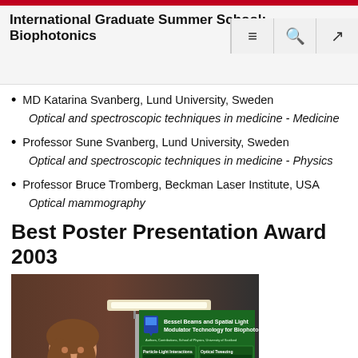International Graduate Summer School: Biophotonics
MD Katarina Svanberg, Lund University, Sweden
Optical and spectroscopic techniques in medicine - Medicine
Professor Sune Svanberg, Lund University, Sweden
Optical and spectroscopic techniques in medicine - Physics
Professor Bruce Tromberg, Beckman Laser Institute, USA
Optical mammography
Best Poster Presentation Award 2003
[Figure (photo): Photo of a woman standing in front of a poster titled 'Bessel Beams and Spatial Light Modulator Technology for Biophotonics' at the International Graduate Summer School: Biophotonics 2003]